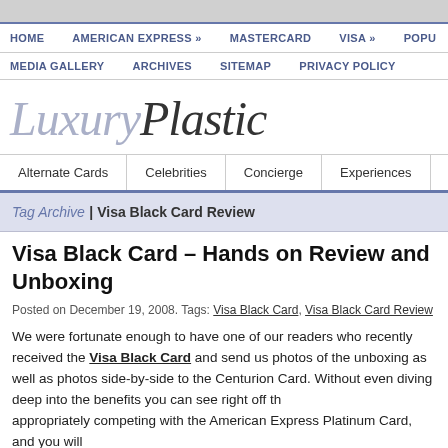HOME | AMERICAN EXPRESS » | MASTERCARD | VISA » | POPU...
MEDIA GALLERY | ARCHIVES | SITEMAP | PRIVACY POLICY
LuxuryPlastic
Alternate Cards | Celebrities | Concierge | Experiences | Fe...
Tag Archive | Visa Black Card Review
Visa Black Card – Hands on Review and Unboxing
Posted on December 19, 2008. Tags: Visa Black Card, Visa Black Card Review
We were fortunate enough to have one of our readers who recently received the Visa Black Card and send us photos of the unboxing as well as photos side-by-side to the Centurion Card. Without even diving deep into the benefits you can see right off the appropriately competing with the American Express Platinum Card, and you will...